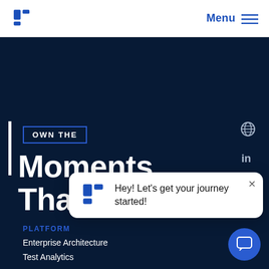Logo | Menu
OWN THE
Moments That Matter
Hey! Let's get your journey started!
PLATFORM
Enterprise Architecture
Test Analytics